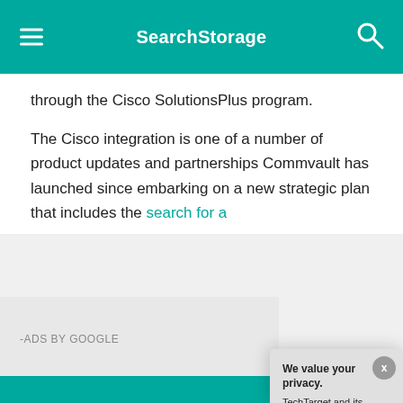SearchStorage
through the Cisco SolutionsPlus program.
The Cisco integration is one of a number of product updates and partnerships Commvault has launched since embarking on a new strategic plan that includes the search for a
-ADS BY GOOGLE
We value your privacy. TechTarget and its partners employ cookies to improve your experience on our site, to analyze traffic and performance, and to serve personalized content and advertising that are relevant to your professional interests. You can manage your settings at any time. Please view our Privacy Policy for more information